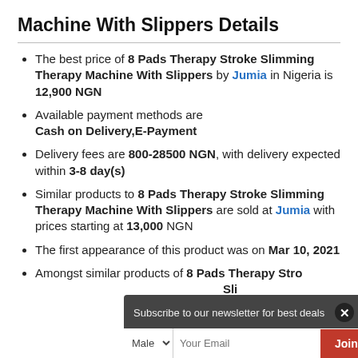Machine With Slippers Details
The best price of 8 Pads Therapy Stroke Slimming Therapy Machine With Slippers by Jumia in Nigeria is 12,900 NGN
Available payment methods are Cash on Delivery,E-Payment
Delivery fees are 800-28500 NGN, with delivery expected within 3-8 day(s)
Similar products to 8 Pads Therapy Stroke Slimming Therapy Machine With Slippers are sold at Jumia with prices starting at 13,000 NGN
The first appearance of this product was on Mar 10, 2021
Amongst similar products of 8 Pads Therapy Stroke Slimming Therapy Machine With Slippers, the cheapest price is found at Jumia...
[Figure (screenshot): Newsletter subscription popup with 'Subscribe to our newsletter for best deals' text, a gender dropdown (Male), email input field (Your Email), and a red Join button, with a close (x) button.]